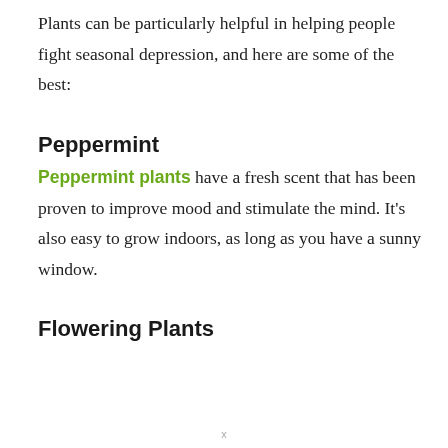Plants can be particularly helpful in helping people fight seasonal depression, and here are some of the best:
Peppermint
Peppermint plants have a fresh scent that has been proven to improve mood and stimulate the mind. It’s also easy to grow indoors, as long as you have a sunny window.
Flowering Plants
x